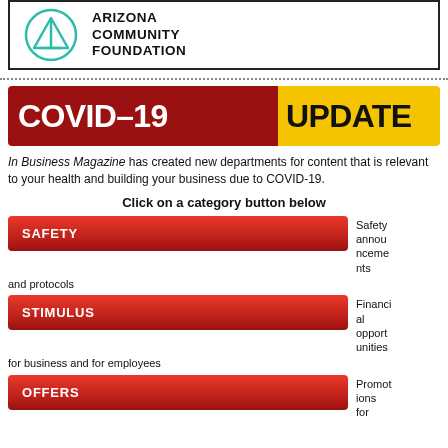[Figure (logo): Arizona Community Foundation logo with teal circular icon and bold text]
COVID-19 UPDATE
In Business Magazine has created new departments for content that is relevant to your health and building your business due to COVID-19.
Click on a category button below
SAFETY — Safety announcements and protocols
STIMULUS — Financial opportunities for business and for employees
OFFERS — Promotions for